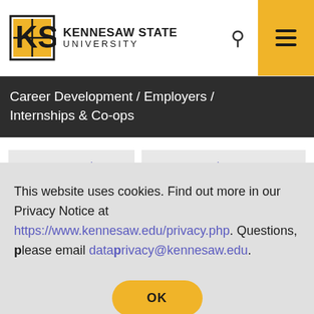Kennesaw State University
Career Development / Employers / Internships & Co-ops
Post a Job
Recruit at KSU
Internships & Co-ops
This website uses cookies. Find out more in our Privacy Notice at https://www.kennesaw.edu/privacy.php. Questions, please email dataprivacy@kennesaw.edu.
OK